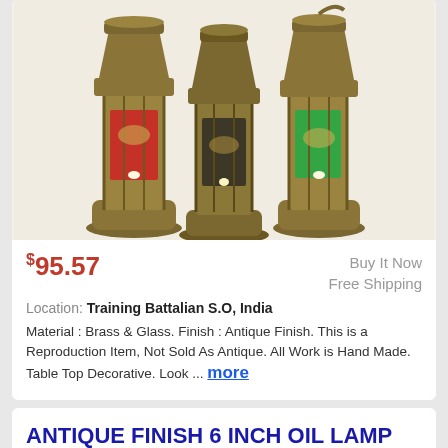[Figure (photo): Three antique brass miner oil lanterns side by side — left has red glass, center has clear/dark glass, right has green glass. Gold/bronze brass finish.]
$95.57
Buy It Now
Free Shipping
Location: Training Battalian S.O, India
Material : Brass & Glass. Finish : Antique Finish. This is a Reproduction Item, Not Sold As Antique. All Work is Hand Made. Table Top Decorative. Look ... more
ANTIQUE FINISH 6 INCH OIL LAMP LANTERN MINER BRASS SET OF 3 PCS GIFT